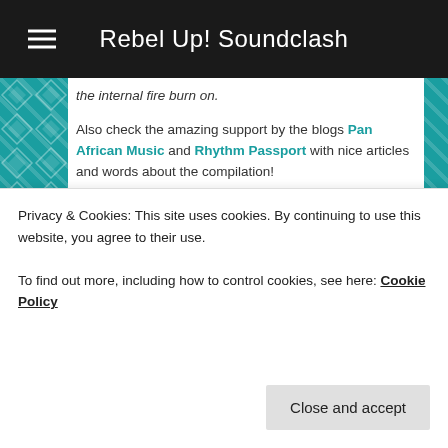Rebel Up! Soundclash
the internal fire burn on.
Also check the amazing support by the blogs Pan African Music and Rhythm Passport with nice articles and words about the compilation!
Posted in upcoming | Tagged 1000 hz, 808 bantou, action, activist, activist music, afalfl, afoxe, african, african electronic, afro futurist, afrofuturism, afrohouse, afrolatino, akon, amapiano, angola, anti racism, avant garde, ayuune sule, badiu, balafon, balani, bass, black lives matter, blanc manioc, blog, bnegÃ£o, bongo joe records, brasil, brazil, cameroon, caribbean, chouk bwa, club, colombia, community organisation, compilation
Privacy & Cookies: This site uses cookies. By continuing to use this website, you agree to their use.
To find out more, including how to control cookies, see here: Cookie Policy
kinglman, kirdec, kuduro, kuenta, kuenta i tambu, liberty,